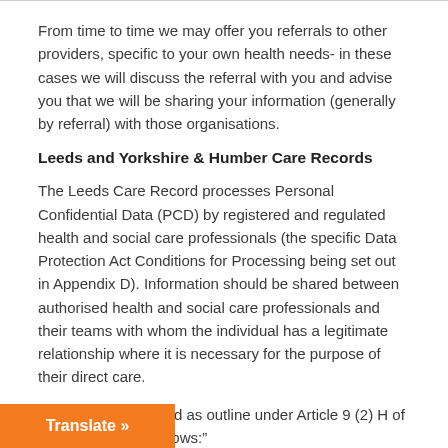From time to time we may offer you referrals to other providers, specific to your own health needs- in these cases we will discuss the referral with you and advise you that we will be sharing your information (generally by referral) with those organisations.
Leeds and Yorkshire & Humber Care Records
The Leeds Care Record processes Personal Confidential Data (PCD) by registered and regulated health and social care professionals (the specific Data Protection Act Conditions for Processing being set out in Appendix D). Information should be shared between authorised health and social care professionals and their teams with whom the individual has a legitimate relationship where it is necessary for the purpose of their direct care.
Direct Care is defined as outline under Article 9 (2) H of GDPR, this is as follows:"
“processing is necessary for the purposes of preventive or occupational medicine, for the assessment of the working [employee, medical diagnosis, the provision of